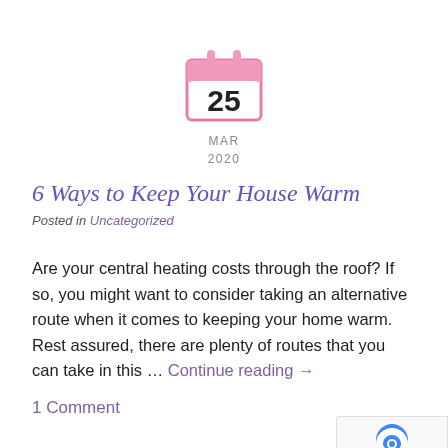[Figure (illustration): Pink calendar icon showing the number 25]
MAR
2020
6 Ways to Keep Your House Warm
Posted in Uncategorized
Are your central heating costs through the roof? If so, you might want to consider taking an alternative route when it comes to keeping your home warm. Rest assured, there are plenty of routes that you can take in this … Continue reading →
1 Comment